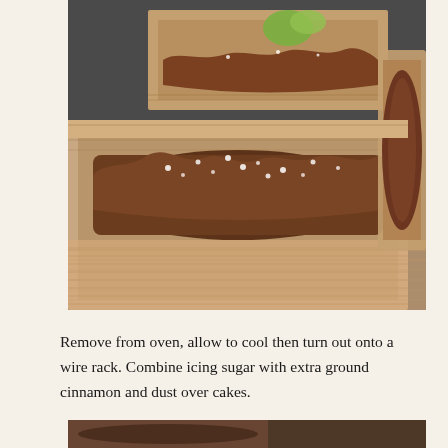[Figure (photo): Photo of chocolate loaf cakes in cardboard baking boxes, dusted with powdered sugar/cinnamon, sitting on a dark surface. Multiple boxes visible including one in foreground with a large frosted chocolate loaf.]
Remove from oven, allow to cool then turn out onto a wire rack. Combine icing sugar with extra ground cinnamon and dust over cakes.
[Figure (photo): Partial view of another photo at the bottom of the page, appears to show more baked goods.]